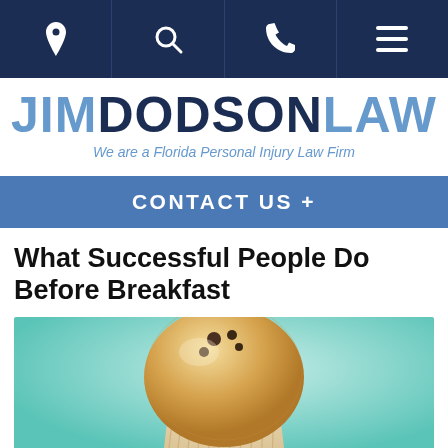[navigation icons: location, search, phone, menu]
JIM DODSON LAW — We are a Florida Personal Injury Law Firm
CONTACT US +
What Successful People Do Before Breakfast
[Figure (photo): A blueberry muffin on a light teal/turquoise background, viewed from the side, showing the tall domed top and fluted paper wrapper.]